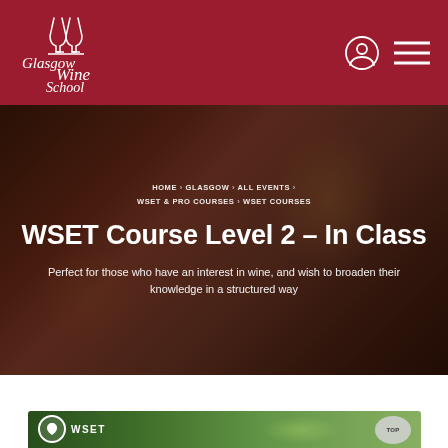[Figure (logo): Glasgow Wine School logo — two wine glasses icon above stylized text 'Glasgow Wine School' in white on dark red background]
[Figure (screenshot): Website header with dark red background, Glasgow Wine School logo on left, user account icon and hamburger menu icon on right]
HOME > GLASGOW > ALL EVENTS > WSET & PRO COURSES > WSET COURSES
WSET Course Level 2 – In Class
Perfect for those who have an interest in wine, and wish to broaden their knowledge in a structured way
[Figure (photo): Bottom portion of a photo showing green grape clusters on a vine with WSET logo badge on the left and a TOP button on the right]